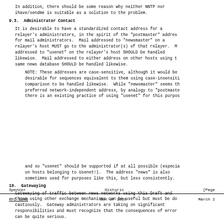In addition, there should be some reason why neither NNTP nor ihave/sendme is suitable as a solution to the problem.
9.3.  Administrator Contact
It is desirable to have a standardized contact address for a relayer's administrators, in the spirit of the "postmaster" address for mail administrators.  Mail addressed to "newsmaster" on a relayer's host MUST go to the administrator(s) of that relayer.  Mail addressed to "usenet" on the relayer's host SHOULD be handled likewise.  Mail addressed to either address on other hosts using the same news database SHOULD be handled likewise.
NOTE: These addresses are case-sensitive, although it would be desirable for sequences equivalent to them using case-insensitive comparison to be handled likewise.  While "newsmaster" seems the preferred network-independent address, by analogy to "postmaster", there is an existing practice of using "usenet" for this purpose,
Spencer                          Historic                         [Page
RFC 1849                        Son of 1036                       March 2
and so "usenet" should be supported if at all possible (especially on hosts belonging to Usenet!).  The address "news" is also sometimes used for purposes like this, but less consistently.
10.  Gatewaying
Gatewaying of traffic between news networks using this Draft and those using other exchange mechanisms can be useful but must be done cautiously.  Gateway administrators are taking on significant responsibilities and must recognize that the consequences of errors can be quite serious.